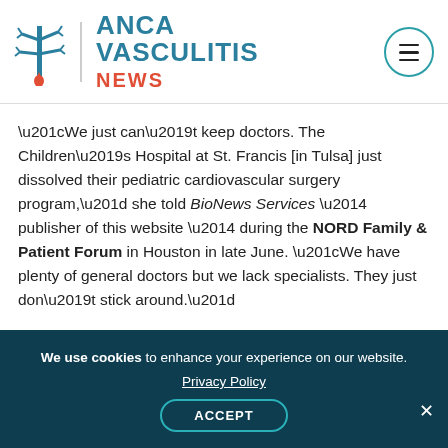[Figure (logo): ANCA Vasculitis News logo with stylized icon of blood vessel/cactus figure, teal ANCA VASCULITIS text and red NEWS text, with hamburger menu button in teal circle on the right]
“We just can’t keep doctors. The Children’s Hospital at St. Francis [in Tulsa] just dissolved their pediatric cardiovascular surgery program,” she told BioNews Services — publisher of this website — during the NORD Family & Patient Forum in Houston in late June. “We have plenty of general doctors but we lack specialists. They just don’t stick around.”
Opioids and poverty
We use cookies to enhance your experience on our website. Privacy Policy ACCEPT